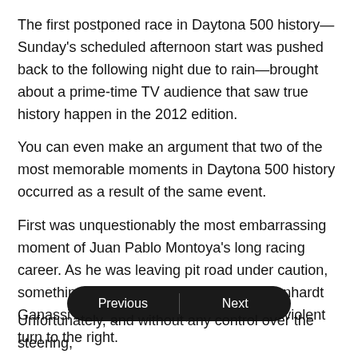The first postponed race in Daytona 500 history—Sunday's scheduled afternoon start was pushed back to the following night due to rain—brought about a prime-time TV audience that saw true history happen in the 2012 edition.
You can even make an argument that two of the most memorable moments in Daytona 500 history occurred as a result of the same event.
First was unquestionably the most embarrassing moment of Juan Pablo Montoya's long racing career. As he was leaving pit road under caution, something broke in the steering of his Earnhardt Ganassi Racing Chevrolet, and it made a violent turn to the right.
[Figure (other): Navigation bar with Previous and Next buttons]
Unfortunately, and without any control over the steering,